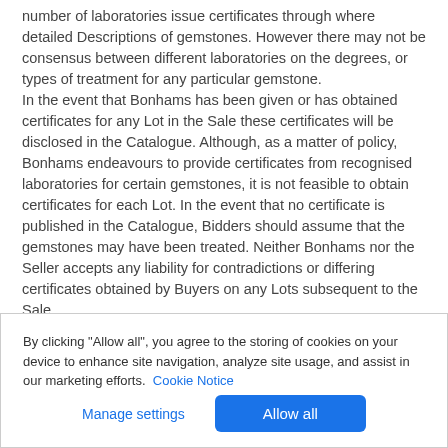number of laboratories issue certificates through where detailed Descriptions of gemstones. However there may not be consensus between different laboratories on the degrees, or types of treatment for any particular gemstone. In the event that Bonhams has been given or has obtained certificates for any Lot in the Sale these certificates will be disclosed in the Catalogue. Although, as a matter of policy, Bonhams endeavours to provide certificates from recognised laboratories for certain gemstones, it is not feasible to obtain certificates for each Lot. In the event that no certificate is published in the Catalogue, Bidders should assume that the gemstones may have been treated. Neither Bonhams nor the Seller accepts any liability for contradictions or differing certificates obtained by Buyers on any Lots subsequent to the Sale.
By clicking "Allow all", you agree to the storing of cookies on your device to enhance site navigation, analyze site usage, and assist in our marketing efforts. Cookie Notice
Manage settings   Allow all